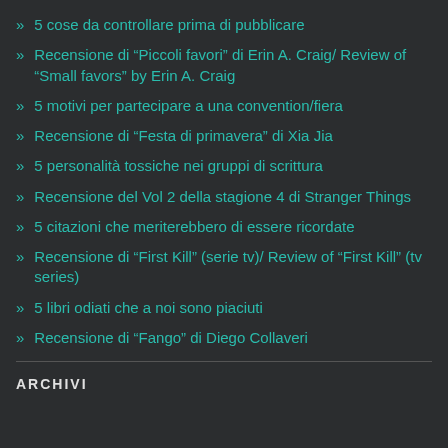5 cose da controllare prima di pubblicare
Recensione di “Piccoli favori” di Erin A. Craig/ Review of “Small favors” by Erin A. Craig
5 motivi per partecipare a una convention/fiera
Recensione di “Festa di primavera” di Xia Jia
5 personalità tossiche nei gruppi di scrittura
Recensione del Vol 2 della stagione 4 di Stranger Things
5 citazioni che meriterebbero di essere ricordate
Recensione di “First Kill” (serie tv)/ Review of “First Kill” (tv series)
5 libri odiati che a noi sono piaciuti
Recensione di “Fango” di Diego Collaveri
ARCHIVI